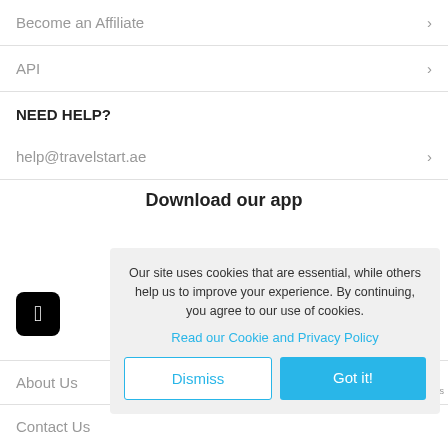Become an Affiliate
API
NEED HELP?
help@travelstart.ae
Download our app
[Figure (other): Apple app store icon (black rounded square with Apple logo)]
Our site uses cookies that are essential, while others help us to improve your experience. By continuing, you agree to our use of cookies.
Read our Cookie and Privacy Policy
Dismiss
Got it!
About Us
Contact Us